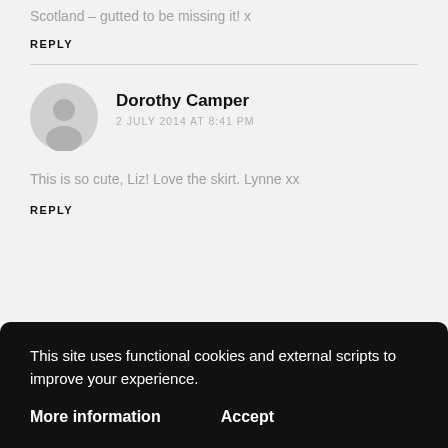Scotland – gutted to be missing it! x
REPLY
Dorothy Camper
2 JULY 2014 AT 8:41 PM
This is so cute, Liz! Love the skirt. Lynne xx
REPLY
This site uses functional cookies and external scripts to improve your experience.
More information
Accept